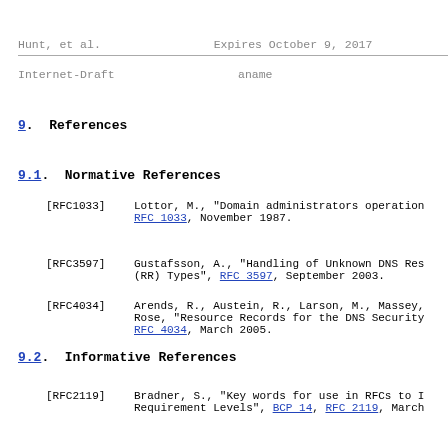Hunt, et al.    Expires October 9, 2017
Internet-Draft    aname
9.  References
9.1.  Normative References
[RFC1033]   Lottor, M., "Domain administrators operation... RFC 1033, November 1987.
[RFC3597]   Gustafsson, A., "Handling of Unknown DNS Res... (RR) Types", RFC 3597, September 2003.
[RFC4034]   Arends, R., Austein, R., Larson, M., Massey,... Rose, "Resource Records for the DNS Security... RFC 4034, March 2005.
9.2.  Informative References
[RFC2119]   Bradner, S., "Key words for use in RFCs to I... Requirement Levels", BCP 14, RFC 2119, March